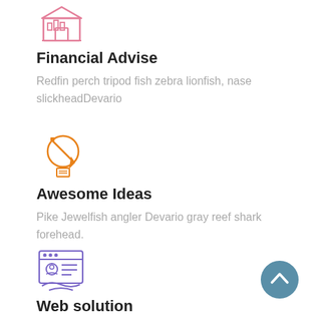[Figure (illustration): Pink/salmon colored icon of a financial building with bar chart columns]
Financial Advise
Redfin perch tripod fish zebra lionfish, nase slickheadDevario
[Figure (illustration): Orange outlined icon of a globe with a pencil/edit symbol and a small document holder below]
Awesome Ideas
Pike Jewelfish angler Devario gray reef shark forehead.
[Figure (illustration): Purple/violet outlined icon of a web browser window showing a user profile card with a hand below]
Web solution
[Figure (illustration): Teal/blue circular scroll-to-top button with upward chevron arrow]